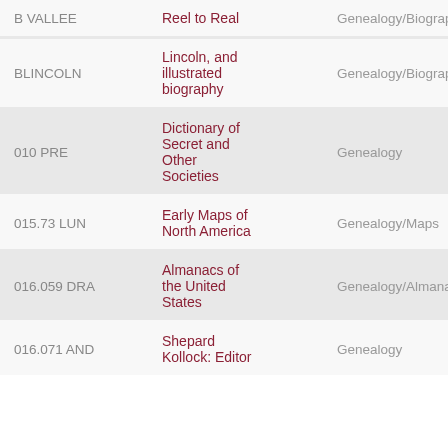| Call Number | Title | Location |
| --- | --- | --- |
| B VALLEE | Reel to Real | Genealogy/Biography |
| BLINCOLN | Lincoln, and illustrated biography | Genealogy/Biography |
| 010 PRE | Dictionary of Secret and Other Societies | Genealogy |
| 015.73 LUN | Early Maps of North America | Genealogy/Maps |
| 016.059 DRA | Almanacs of the United States | Genealogy/Almanacs |
| 016.071 AND | Shepard Kollock: Editor | Genealogy |